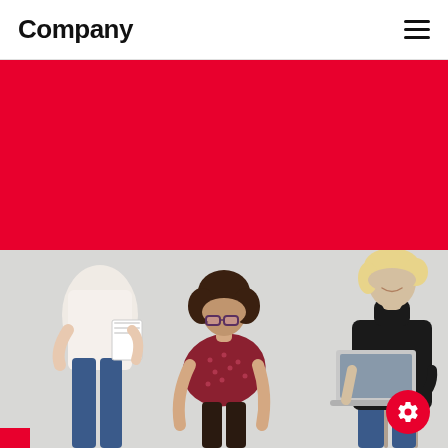Company
[Figure (illustration): Red banner background section below the navigation header]
[Figure (photo): Three professional women: one standing holding papers in white blouse and jeans, one leaning forward with curly hair and glasses in a dark red dotted top, and one sitting with a laptop in a black turtleneck and jeans. Light grey background.]